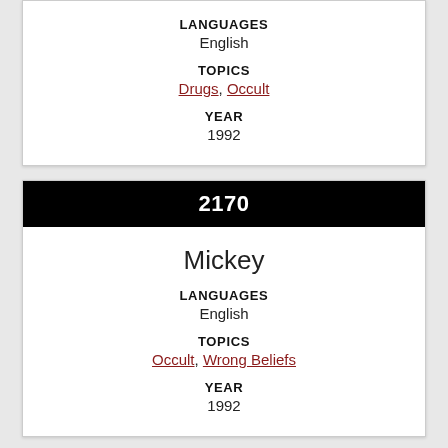LANGUAGES
English
TOPICS
Drugs, Occult
YEAR
1992
2170
Mickey
LANGUAGES
English
TOPICS
Occult, Wrong Beliefs
YEAR
1992